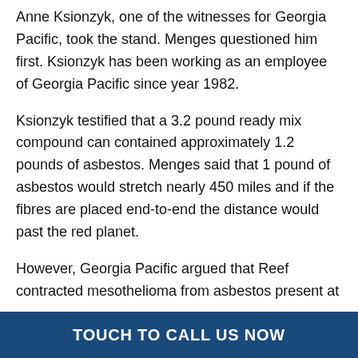Anne Ksionzyk, one of the witnesses for Georgia Pacific, took the stand. Menges questioned him first. Ksionzyk has been working as an employee of Georgia Pacific since year 1982.
Ksionzyk testified that a 3.2 pound ready mix compound can contained approximately 1.2 pounds of asbestos. Menges said that 1 pound of asbestos would stretch nearly 450 miles and if the fibres are placed end-to-end the distance would past the red planet.
However, Georgia Pacific argued that Reef contracted mesothelioma from asbestos present at
TOUCH TO CALL US NOW